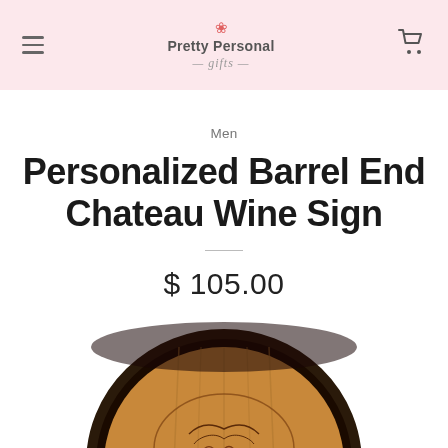Pretty Personal Gifts — navigation header with hamburger menu and cart icon
Men
Personalized Barrel End Chateau Wine Sign
$ 105.00
[Figure (photo): Circular wooden barrel end with decorative wine-themed engraving, dark metal straps around the perimeter, warm wood tones]